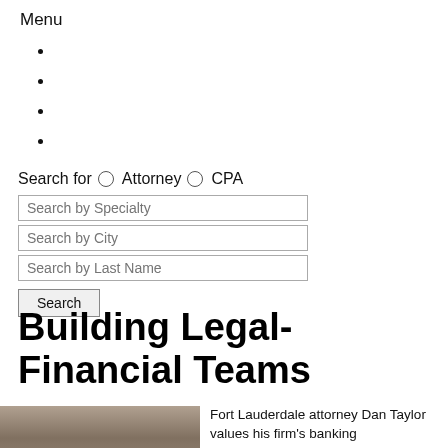Menu
Search for  ○ Attorney  ○ CPA
Search by Specialty
Search by City
Search by Last Name
Search
Building Legal-Financial Teams
[Figure (photo): Portrait photo of a person, partially visible at bottom of page]
Fort Lauderdale attorney Dan Taylor values his firm's banking